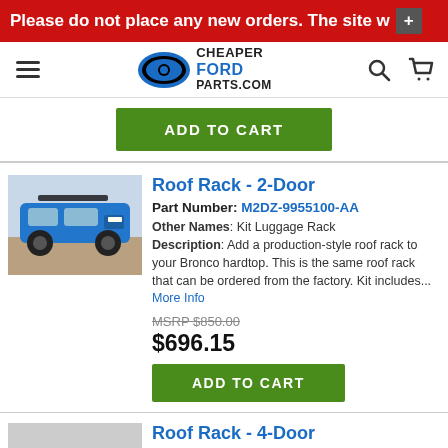Please do not place any new orders. The site w +
[Figure (logo): CheaperFordParts.com logo with engine/gear icon in blue oval, hamburger menu, search and cart icons]
ADD TO CART
Roof Rack - 2-Door
Part Number: M2DZ-9955100-AA
[Figure (photo): Blue Ford Bronco 2-door SUV on rocky terrain]
Other Names: Kit Luggage Rack
Description: Add a production-style roof rack to your Bronco hardtop. This is the same roof rack that can be ordered from the factory. Kit includes... More Info
MSRP $850.00
$696.15
ADD TO CART
Roof Rack - 4-Door